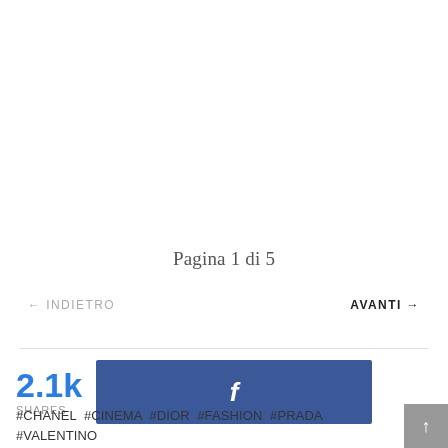Pagina 1 di 5
← INDIETRO
AVANTI →
2.1k SHARES
[Figure (other): Facebook share button (blue rectangle with white 'f' logo)]
#CHANEL #CINEMA #DIOR #FASHION #PRADA #VALENTINO